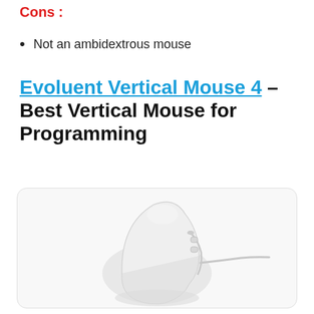Cons :
Not an ambidextrous mouse
Evoluent Vertical Mouse 4 – Best Vertical Mouse for Programming
[Figure (photo): White Evoluent Vertical Mouse 4, a vertically oriented ergonomic mouse with wired connection, shown from a front-side angle against a light background inside a rounded rectangle card.]